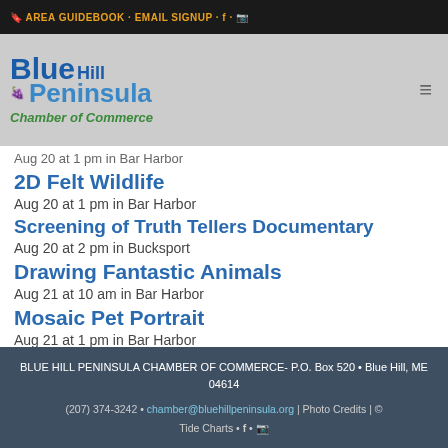AREA GUIDEBOOK · EMAIL SIGNUP · f · Instagram
[Figure (logo): Blue Hill Peninsula Chamber of Commerce logo with blue and green text]
Aug 20 at 1 pm in Bar Harbor
2D Felt Wildlife
Aug 20 at 1 pm in Bar Harbor
Screening of Truth Tellers Documentary
Aug 20 at 2 pm in Bucksport
Drawing Fantastic Animals
Aug 21 at 10 am in Bar Harbor
Mosaic Pet Portrait
Aug 21 at 1 pm in Bar Harbor
BLUE HILL PENINSULA CHAMBER OF COMMERCE- P.O. Box 520 • Blue Hill, ME 04614
(207) 374-3242 • chamber@bluehillpeninsula.org | Photo Credits | © Tide Charts • f •